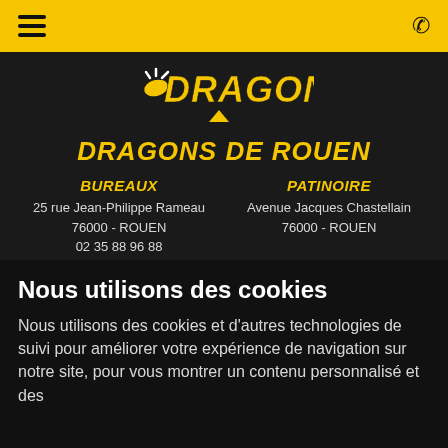Menu | Phone
[Figure (logo): Dragons de Rouen hockey team logo - stylized yellow and black text DRAGONS with hockey puck graphic]
DRAGONS DE ROUEN
BUREAUX
25 rue Jean-Philippe Rameau
76000 - ROUEN
02 35 88 96 88
PATINOIRE
Avenue Jacques Chastellain
76000 - ROUEN
ARCHIVES
Nous utilisons des cookies
Nous utilisons des cookies et d'autres technologies de suivi pour améliorer votre expérience de navigation sur notre site, pour vous montrer un contenu personnalisé et des